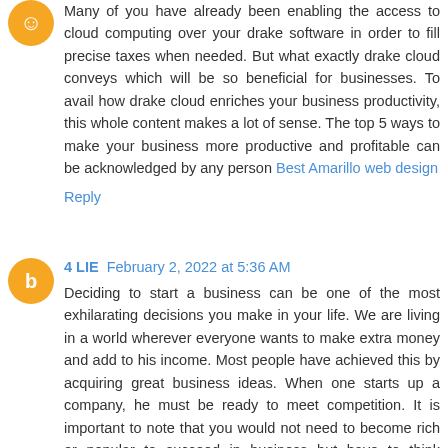Many of you have already been enabling the access to cloud computing over your drake software in order to fill precise taxes when needed. But what exactly drake cloud conveys which will be so beneficial for businesses. To avail how drake cloud enriches your business productivity, this whole content makes a lot of sense. The top 5 ways to make your business more productive and profitable can be acknowledged by any person Best Amarillo web design
Reply
4 LIE  February 2, 2022 at 5:36 AM
Deciding to start a business can be one of the most exhilarating decisions you make in your life. We are living in a world wherever everyone wants to make extra money and add to his income. Most people have achieved this by acquiring great business ideas. When one starts up a company, he must be ready to meet competition. It is important to note that you would not need to become rich or popular to succeed in business but have to think smartly. But there are a lot of moving parts and many different